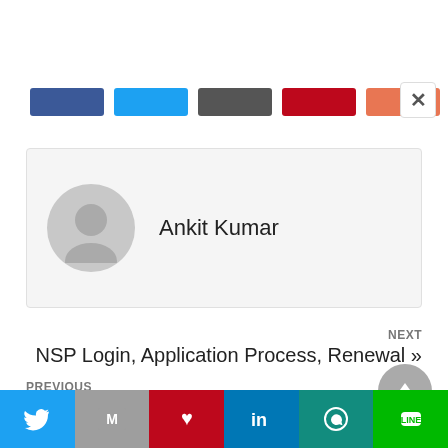[Figure (other): Social share buttons row: Facebook (dark blue), Twitter (blue), grey, Pinterest (dark red), orange/salmon]
[Figure (other): Close (X) button in top right]
[Figure (other): Author card with grey avatar icon and name 'Ankit Kumar']
Ankit Kumar
NEXT
NSP Login, Application Process, Renewal »
PREVIOUS
« National Scholarship, Eligibility, Scholarship List
[Figure (other): Scroll to top button (grey circle with up arrow)]
[Figure (other): Bottom social share bar: Twitter, Gmail/M, Pinterest, LinkedIn, WhatsApp, LINE]